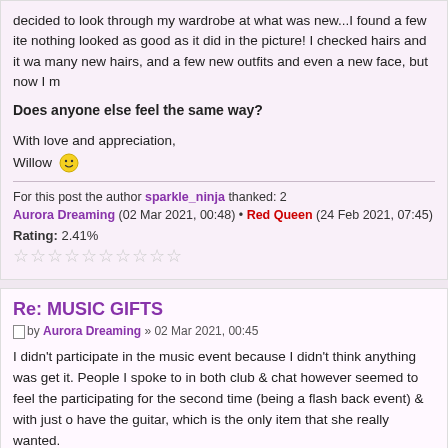decided to look through my wardrobe at what was new...I found a few items, nothing looked as good as it did in the picture! I checked hairs and it was many new hairs, and a few new outfits and even a new face, but now I m
Does anyone else feel the same way?
With love and appreciation,
Willow 😊
For this post the author sparkle_ninja thanked: 2
Aurora Dreaming (02 Mar 2021, 00:48) • Red Queen (24 Feb 2021, 07:45)
Rating: 2.41%
Re: MUSIC GIFTS
by Aurora Dreaming » 02 Mar 2021, 00:45
I didn't participate in the music event because I didn't think anything was get it. People I spoke to in both club & chat however seemed to feel the participating for the second time (being a flash back event) & with just over have the guitar, which is the only item that she really wanted.